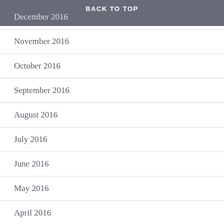BACK TO TOP
December 2016
November 2016
October 2016
September 2016
August 2016
July 2016
June 2016
May 2016
April 2016